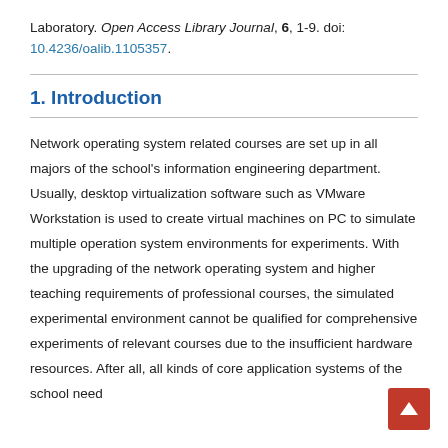Laboratory. Open Access Library Journal, 6, 1-9. doi: 10.4236/oalib.1105357.
1. Introduction
Network operating system related courses are set up in all majors of the school's information engineering department. Usually, desktop virtualization software such as VMware Workstation is used to create virtual machines on PC to simulate multiple operation system environments for experiments. With the upgrading of the network operating system and higher teaching requirements of professional courses, the simulated experimental environment cannot be qualified for comprehensive experiments of relevant courses due to the insufficient hardware resources. After all, all kinds of core application systems of the school need